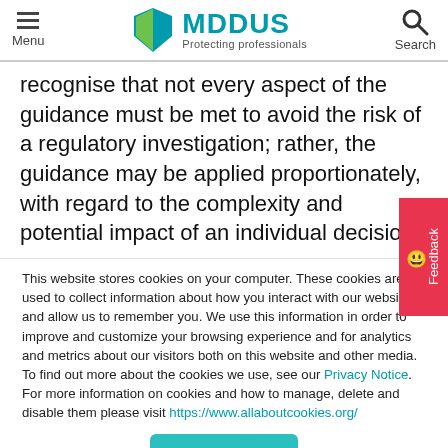Menu | MDDUS Protecting professionals | Search
recognise that not every aspect of the guidance must be met to avoid the risk of a regulatory investigation; rather, the guidance may be applied proportionately, with regard to the complexity and potential impact of an individual decision.
This website stores cookies on your computer. These cookies are used to collect information about how you interact with our website and allow us to remember you. We use this information in order to improve and customize your browsing experience and for analytics and metrics about our visitors both on this website and other media. To find out more about the cookies we use, see our Privacy Notice. For more information on cookies and how to manage, delete and disable them please visit https://www.allaboutcookies.org/